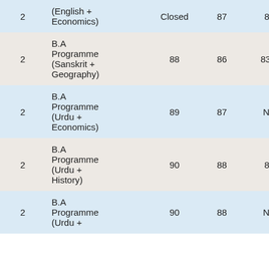| Year | Programme | Col3 | Col4 | Col5 | Col6 |
| --- | --- | --- | --- | --- | --- |
| 2 | (English + Economics) | Closed | 87 | 84 | NA |
| 2 | B.A Programme (Sanskrit + Geography) | 88 | 86 | 83.5 | NA |
| 2 | B.A Programme (Urdu + Economics) | 89 | 87 | NA | 82 |
| 2 | B.A Programme (Urdu + History) | 90 | 88 | 84 | NA |
| 2 | B.A Programme (Urdu + ... | 90 | 88 | NA | NA |